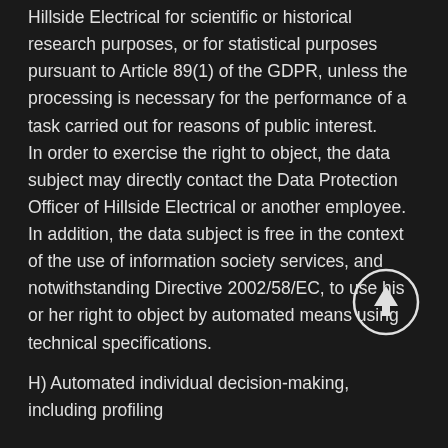Hillside Electrical for scientific or historical research purposes, or for statistical purposes pursuant to Article 89(1) of the GDPR, unless the processing is necessary for the performance of a task carried out for reasons of public interest. In order to exercise the right to object, the data subject may directly contact the Data Protection Officer of Hillside Electrical or another employee. In addition, the data subject is free in the context of the use of information society services, and notwithstanding Directive 2002/58/EC, to use his or her right to object by automated means using technical specifications.
H) Automated individual decision-making, including profiling